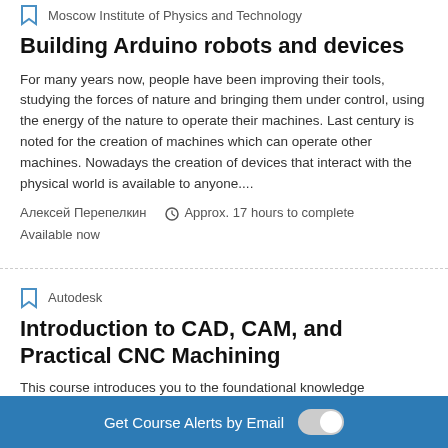Moscow Institute of Physics and Technology
Building Arduino robots and devices
For many years now, people have been improving their tools, studying the forces of nature and bringing them under control, using the energy of the nature to operate their machines. Last century is noted for the creation of machines which can operate other machines. Nowadays the creation of devices that interact with the physical world is available to anyone....
Алексей Перепелкин   Approx. 17 hours to complete
Available now
Autodesk
Introduction to CAD, CAM, and Practical CNC Machining
This course introduces you to the foundational knowledge
Get Course Alerts by Email